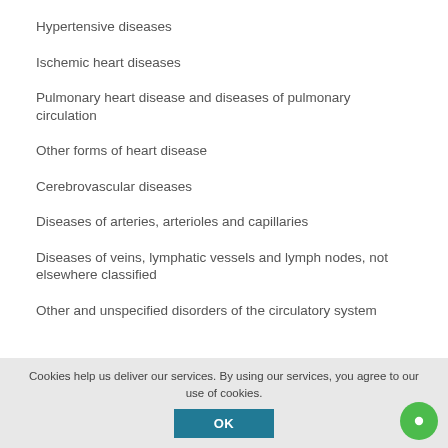Hypertensive diseases
Ischemic heart diseases
Pulmonary heart disease and diseases of pulmonary circulation
Other forms of heart disease
Cerebrovascular diseases
Diseases of arteries, arterioles and capillaries
Diseases of veins, lymphatic vessels and lymph nodes, not elsewhere classified
Other and unspecified disorders of the circulatory system
Cookies help us deliver our services. By using our services, you agree to our use of cookies.
OK